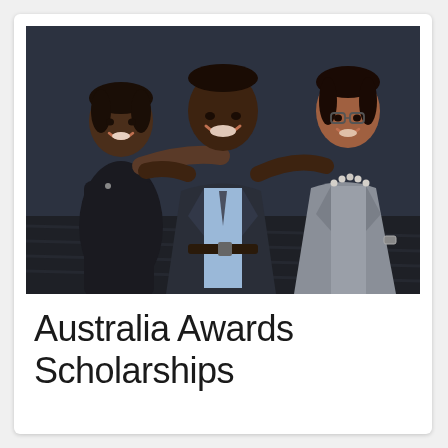[Figure (photo): Three smiling people posing together against a dark background. A woman in a black dress on the left, a tall man in the center wearing a suit jacket and light blue shirt, and a woman on the right wearing glasses, a pearl necklace, and a grey blazer. The man has his arms around both women.]
Australia Awards Scholarships